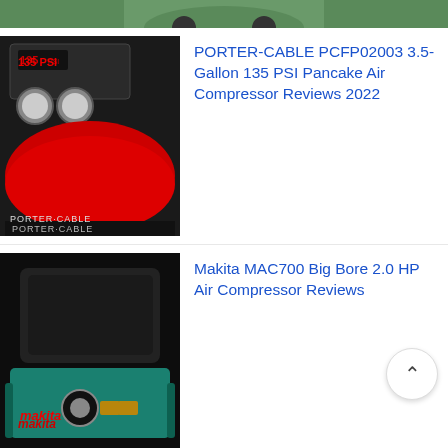[Figure (photo): Partial top view of a green air compressor on wheels, cropped at top of page]
[Figure (photo): PORTER-CABLE PCFP02003 red pancake air compressor with 135 PSI gauge and black control panel]
PORTER-CABLE PCFP02003 3.5-Gallon 135 PSI Pancake Air Compressor Reviews 2022
[Figure (photo): Makita MAC700 teal/black big bore air compressor with brass fittings]
Makita MAC700 Big Bore 2.0 HP Air Compressor Reviews
search...
TABLE OF CONTENTS
3 Best CrossFit Gloves for Pull Ups & Rope Climbing